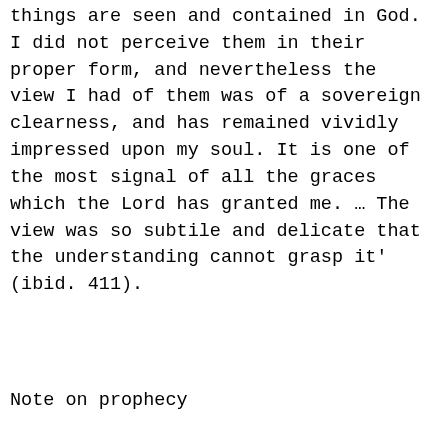things are seen and contained in God. I did not perceive them in their proper form, and nevertheless the view I had of them was of a sovereign clearness, and has remained vividly impressed upon my soul. It is one of the most signal of all the graces which the Lord has granted me. … The view was so subtile and delicate that the understanding cannot grasp it' (ibid. 411).
Note on prophecy